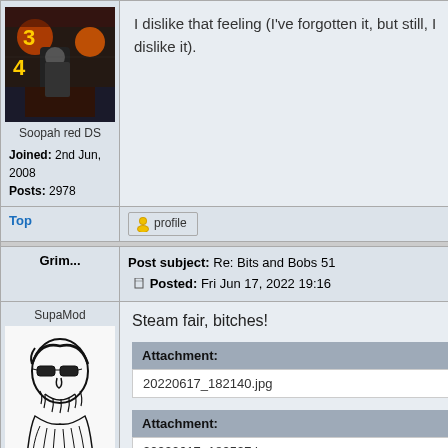[Figure (photo): Avatar image showing a dark game screenshot with a character, numbers 3 and 4 visible]
Soopah red DS
Joined: 2nd Jun, 2008
Posts: 2978
I dislike that feeling (I've forgotten it, but still, I dislike it).
Top
[Figure (other): Profile button with user icon]
Grim...
Post subject: Re: Bits and Bobs 51
Posted: Fri Jun 17, 2022 19:16
SupaMod
[Figure (illustration): Hand-drawn sketch of a person wearing sunglasses with beard, black and white drawing]
Est. 1978
Joined: 27th Mar, 2008
Posts: 69021
Location: Your Mum
Steam fair, bitches!
Attachment:
20220617_182140.jpg
Attachment:
20220617_182527.jpg